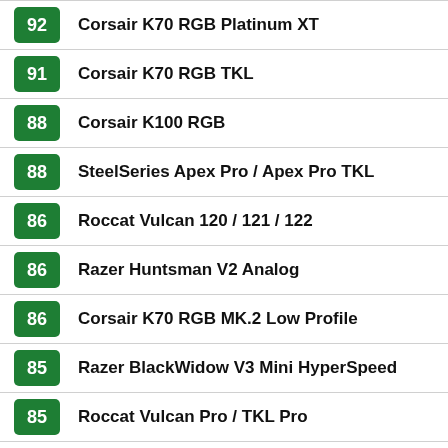92 Corsair K70 RGB Platinum XT
91 Corsair K70 RGB TKL
88 Corsair K100 RGB
88 SteelSeries Apex Pro / Apex Pro TKL
86 Roccat Vulcan 120 / 121 / 122
86 Razer Huntsman V2 Analog
86 Corsair K70 RGB MK.2 Low Profile
85 Razer BlackWidow V3 Mini HyperSpeed
85 Roccat Vulcan Pro / TKL Pro
85 HyperX Alloy Origins